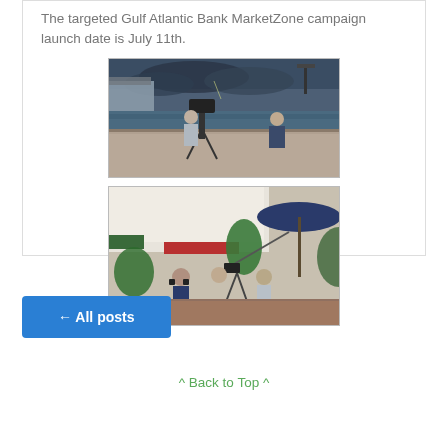The targeted Gulf Atlantic Bank MarketZone campaign launch date is July 11th.
[Figure (photo): Two people at an outdoor waterfront dock location, one operating a camera on a tripod, the other standing facing the camera. Stormy sky and cruise ship visible in background.]
[Figure (photo): Group of people in an outdoor street/plaza setting, with a person wearing headphones and others gathered around camera equipment. Tropical plants and colorful storefronts visible in background.]
← All posts
^ Back to Top ^